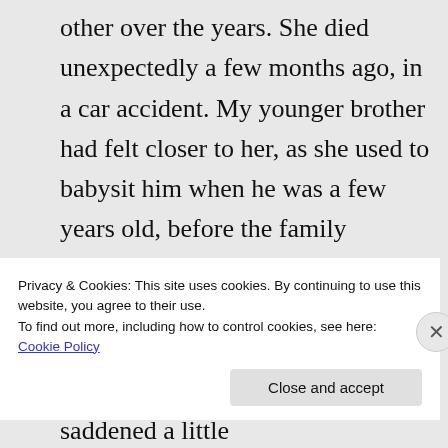other over the years. She died unexpectedly a few months ago, in a car accident. My younger brother had felt closer to her, as she used to babysit him when he was a few years old, before the family inheritance problems. He could not make it to the funeral since her side of the family did not tell us about it in good time, and he was saddened a little
Privacy & Cookies: This site uses cookies. By continuing to use this website, you agree to their use. To find out more, including how to control cookies, see here: Cookie Policy